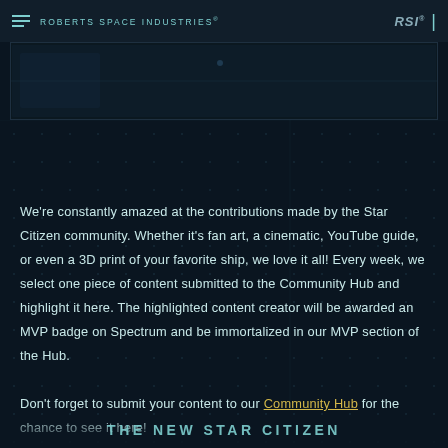ROBERTS SPACE INDUSTRIES®
[Figure (screenshot): Dark screenshot area showing a space/game scene with dark background and subtle details]
We're constantly amazed at the contributions made by the Star Citizen community. Whether it's fan art, a cinematic, YouTube guide, or even a 3D print of your favorite ship, we love it all! Every week, we select one piece of content submitted to the Community Hub and highlight it here. The highlighted content creator will be awarded an MVP badge on Spectrum and be immortalized in our MVP section of the Hub.

Don't forget to submit your content to our Community Hub for the chance to see it here!
THE NEW STAR CITIZEN